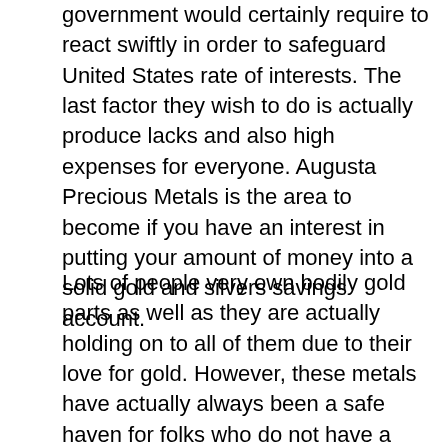government would certainly require to react swiftly in order to safeguard United States rate of interests. The last factor they wish to do is actually produce lacks and also high expenses for everyone. Augusta Precious Metals is the area to become if you have an interest in putting your amount of money into a solid gold and silvers savings account.
Lots of people very own bodily gold parts as well as they are actually holding on to all of them due to their love for gold. However, these metals have actually always been a safe haven for folks who do not have a considerable amount of money. However, inflation and securities market collisions have actually developed a bubble economic situation where bodily gold is worth very